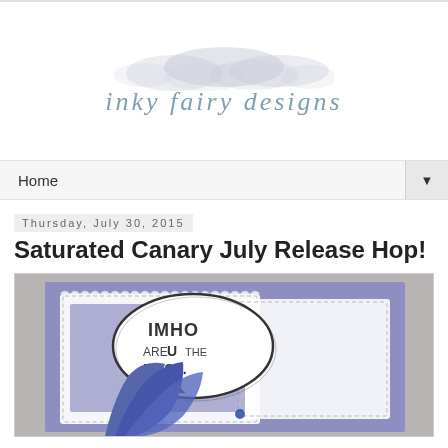inky fairy designs
Home
Thursday, July 30, 2015
Saturated Canary July Release Hop!
[Figure (photo): A handmade card featuring a character with blue hair and a speech bubble that reads 'IMHO ARE U THE BEST.' on a purple/periwinkle patterned background with scalloped layers.]